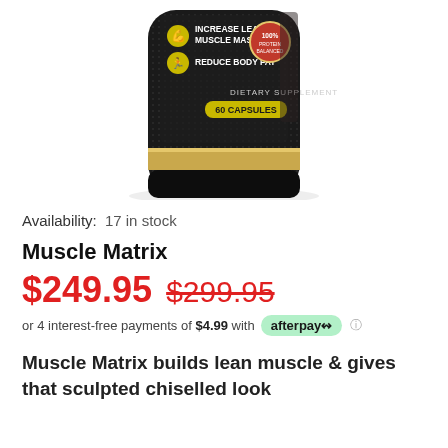[Figure (photo): Product photo of Muscle Matrix dietary supplement bottle (60 capsules), black with gold band, showing labels: Increase Lean Muscle Mass, Reduce Body Fat, Dietary Supplement, 60 Capsules, 100% badge]
Availability:  17 in stock
Muscle Matrix
$249.95  $299.95
or 4 interest-free payments of $4.99 with afterpay
Muscle Matrix builds lean muscle & gives that sculpted chiselled look
...